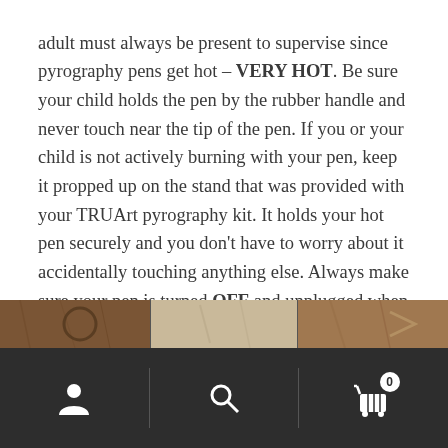adult must always be present to supervise since pyrography pens get hot – VERY HOT. Be sure your child holds the pen by the rubber handle and never touch near the tip of the pen. If you or your child is not actively burning with your pen, keep it propped up on the stand that was provided with your TRUArt pyrography kit. It holds your hot pen securely and you don't have to worry about it accidentally touching anything else. Always make sure your pen is turned OFF and unplugged when it is not in use. Allow some time for your pen to cool off completely before handling and storing it. Remember, these pens are HOT. This is not a toy and must be used with caution under adult supervision.
[Figure (photo): Partial view of pyrography-related items or woodburning products, shown as a horizontal image strip at the bottom of the text area.]
Navigation bar with person icon, search icon, and cart icon with badge showing 0